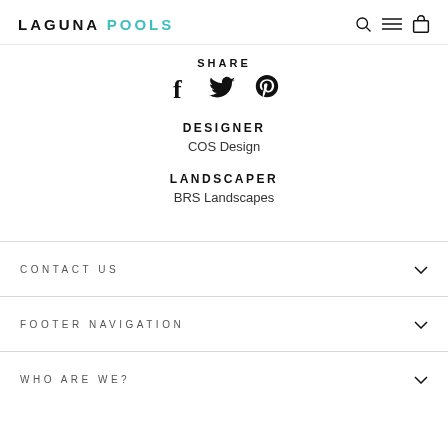LAGUNA POOLS
SHARE
[Figure (other): Social share icons: Facebook (f), Twitter (bird), Pinterest (p)]
DESIGNER
COS Design
LANDSCAPER
BRS Landscapes
CONTACT US
FOOTER NAVIGATION
WHO ARE WE?